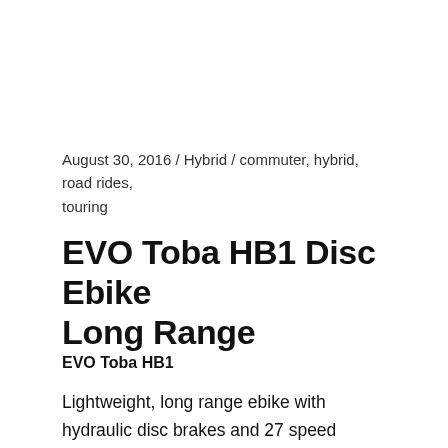August 30, 2016 / Hybrid / commuter, hybrid, road rides, touring
EVO Toba HB1 Disc Ebike Long Range
EVO Toba HB1
Lightweight, long range ebike with hydraulic disc brakes and 27 speed Shimano drivetrain. Perfect for commuting, errand running, or just